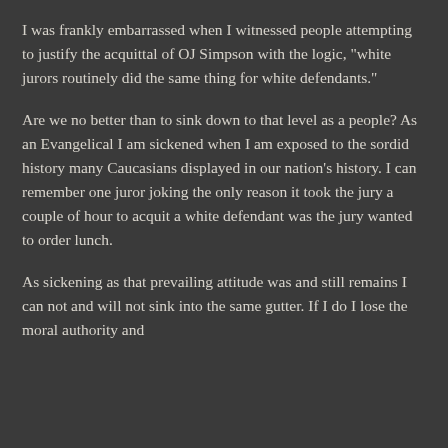I was frankly embarrassed when I witnessed people attempting to justify the acquittal of OJ Simpson with the logic, "white jurors routinely did the same thing for white defendants."
Are we no better than to sink down to that level as a people? As an Evangelical I am sickened when I am exposed to the sordid history many Caucasians displayed in our nation's history. I can remember one juror joking the only reason it took the jury a couple of hour to acquit a white defendant was the jury wanted to order lunch.
As sickening as that prevailing attitude was and still remains I can not and will not sink into the same gutter. If I do I lose the moral authority and